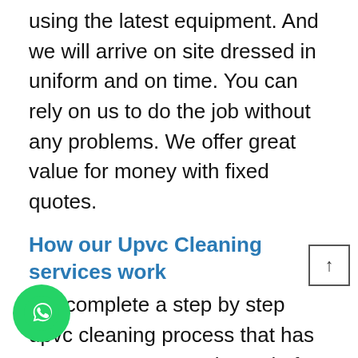using the latest equipment. And we will arrive on site dressed in uniform and on time. You can rely on us to do the job without any problems. We offer great value for money with fixed quotes.
How our Upvc Cleaning services work
We complete a step by step upvc cleaning process that has a purpose to our main goal of restoring the upvc. The three step upvc cleaning treatments we use is one product that is applied manually. First we use a ned dirt remover, this is for upvc cleaning and it transforms the UPVC back to